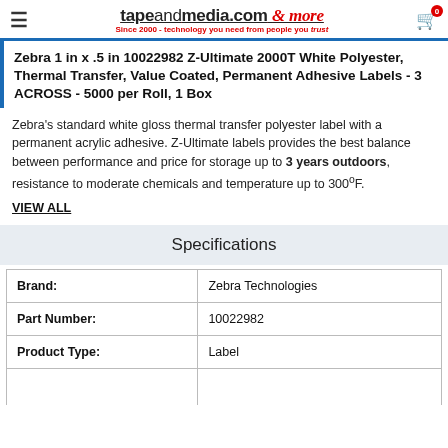tapeandmedia.com & more — Since 2000 - technology you need from people you trust
Zebra 1 in x .5 in 10022982 Z-Ultimate 2000T White Polyester, Thermal Transfer, Value Coated, Permanent Adhesive Labels - 3 ACROSS - 5000 per Roll, 1 Box
Zebra's standard white gloss thermal transfer polyester label with a permanent acrylic adhesive. Z-Ultimate labels provides the best balance between performance and price for storage up to 3 years outdoors, resistance to moderate chemicals and temperature up to 300ºF.
VIEW ALL
Specifications
|  |  |
| --- | --- |
| Brand: | Zebra Technologies |
| Part Number: | 10022982 |
| Product Type: | Label |